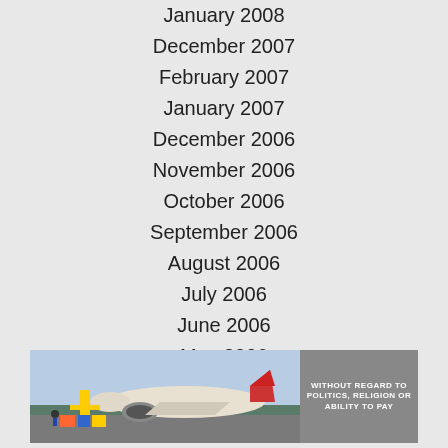January 2008
December 2007
February 2007
January 2007
December 2006
November 2006
October 2006
September 2006
August 2006
July 2006
June 2006
May 2006
[Figure (photo): An airplane being loaded with cargo on a tarmac, with text banner reading WITHOUT REGARD TO POLITICS, RELIGION OR ABILITY TO PAY]